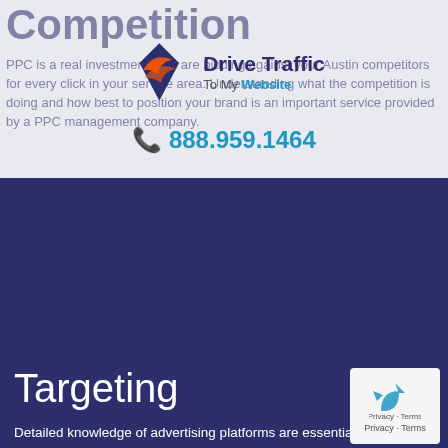Competition
[Figure (logo): Drive Traffic To My Website logo with stylized swoosh graphic]
PPC is a real investment. You are bidding against your Austin competitors for every click in your service area. Understanding what the competition is doing and how best to position your brand is an important service provided by a PPC management company.
☎ 888.959.1464
Targeting
Detailed knowledge of advertising platforms are essential for a Austin PPC management company to help you target the right audience for your objectives. While planning the best approach for your campaign, a PPC firm will help you explore keyword selection, demographic and geographical targeting.
Interesting and Engaging Copy
[Figure (logo): GDPR privacy badge with recycling-style arrow logo, Privacy - Terms text]